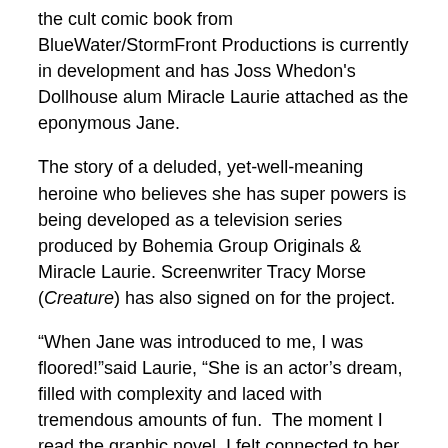the cult comic book from BlueWater/StormFront Productions is currently in development and has Joss Whedon's Dollhouse alum Miracle Laurie attached as the eponymous Jane.
The story of a deluded, yet-well-meaning heroine who believes she has super powers is being developed as a television series produced by Bohemia Group Originals & Miracle Laurie. Screenwriter Tracy Morse (Creature) has also signed on for the project.
“When Jane was introduced to me, I was floored!”said Laurie, “She is an actor’s dream, filled with complexity and laced with tremendous amounts of fun.  The moment I read the graphic novel, I felt connected to her.  I saw her vulnerable side; the girl that just wants to fit in, like we all do.  I saw the outrage she has at the injustice in this world.   And I saw the hope she has and the desire to do good, even if it means battling (and sometimes losing to) her own demons.”